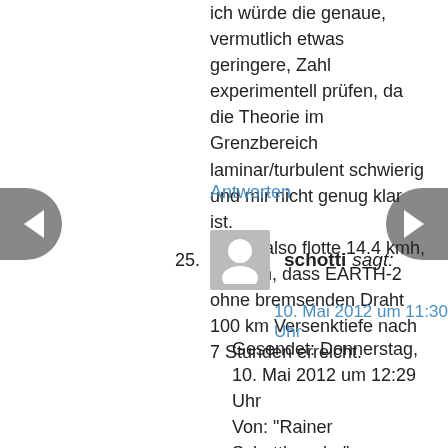ich würde die genaue, vermutlich etwas geringere, Zahl experimentell prüfen, da die Theorie im Grenzbereich laminar/turbulent schwierig und mir nicht genug klar ist.
4 m/s, also flotte 14.4 kmh, heissen, dass EARTH-2 ohne bremsenden Draht 100 km Versenktiefe nach 7 Stunden erreicht.
Antworten
25. schotti sagt:
10. Mai 2012 um 11:30 Uhr
Gesendet: Donnerstag, 10. Mai 2012 um 12:29 Uhr
Von: "Rainer Schottlaender"
An: matthias.kleiner@dfg.de, Dorothee.Dzwonnek@dfg.de, postmaster@dfg.de
Cc: kaiser.harald@stern.de, westermann.kerstin@stern.de,